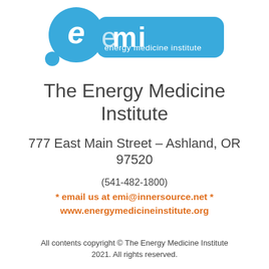[Figure (logo): EMI Energy Medicine Institute logo — blue speech bubble with letter e and blue rounded rectangle with text 'energy medicine institute']
The Energy Medicine Institute
777 East Main Street – Ashland, OR 97520
(541-482-1800)
* email us at emi@innersource.net *
www.energymedicineinstitute.org
All contents copyright © The Energy Medicine Institute 2021. All rights reserved.